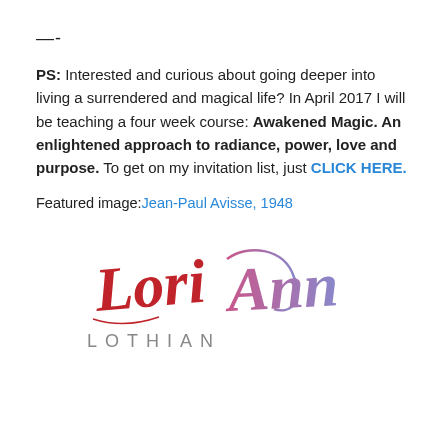—-
PS: Interested and curious about going deeper into living a surrendered and magical life? In April 2017 I will be teaching a four week course: Awakened Magic. An enlightened approach to radiance, power, love and purpose. To get on my invitation list, just CLICK HERE.
Featured image: Jean-Paul Avisse, 1948
[Figure (logo): Lori Ann Lothian signature logo in red and purple script with 'LOTHIAN' in gray capitals below]